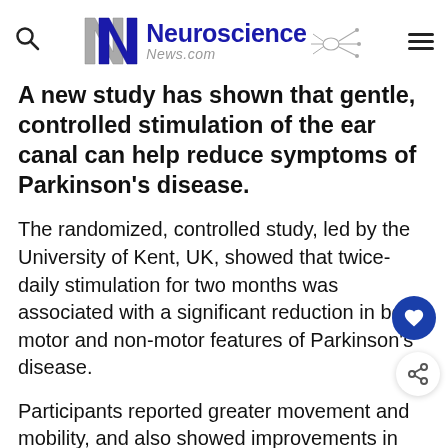Neuroscience News.com
A new study has shown that gentle, controlled stimulation of the ear canal can help reduce symptoms of Parkinson’s disease.
The randomized, controlled study, led by the University of Kent, UK, showed that twice-daily stimulation for two months was associated with a significant reduction in both motor and non-motor features of Parkinson’s disease.
Participants reported greater movement and mobility, and also showed improvements in